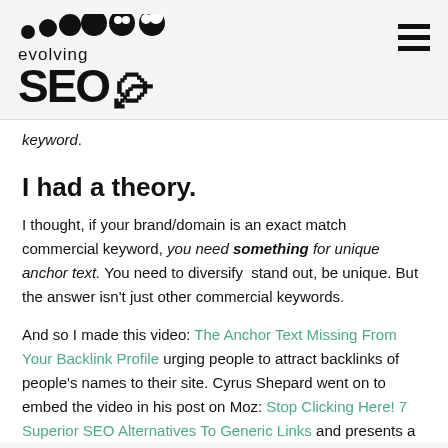evolving SEO
keyword.
I had a theory.
I thought, if your brand/domain is an exact match commercial keyword, you need something for unique anchor text. You need to diversify stand out, be unique. But the answer isn't just other commercial keywords.
And so I made this video: The Anchor Text Missing From Your Backlink Profile urging people to attract backlinks of people's names to their site. Cyrus Shepard went on to embed the video in his post on Moz: Stop Clicking Here! 7 Superior SEO Alternatives To Generic Links and presents a